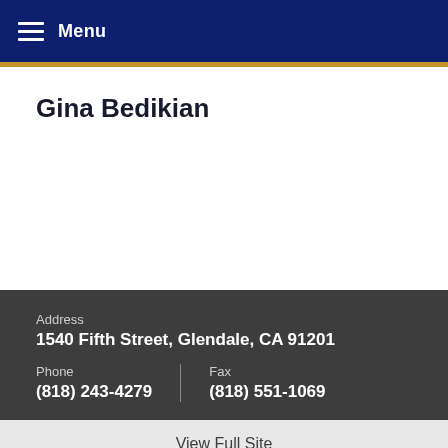Menu
Gina Bedikian
Address
1540 Fifth Street, Glendale, CA 91201
Phone
(818) 243-4279
Fax
(818) 551-1069
View Full Site